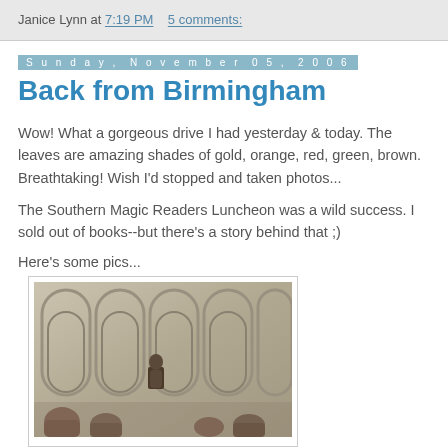Janice Lynn at 7:19 PM    5 comments:
Sunday, November 05, 2006
Back from Birmingham
Wow! What a gorgeous drive I had yesterday & today. The leaves are amazing shades of gold, orange, red, green, brown. Breathtaking! Wish I'd stopped and taken photos...
The Southern Magic Readers Luncheon was a wild success. I sold out of books--but there's a story behind that ;)
Here's some pics...
[Figure (photo): Interior room photo showing decorative wall panels with arch designs; a person appears to be speaking at a podium; audience members visible in foreground.]